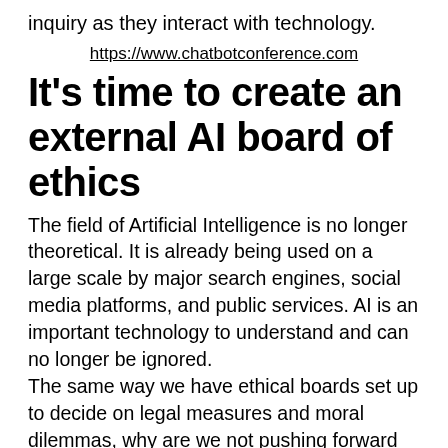inquiry as they interact with technology.
https://www.chatbotconference.com
It's time to create an external AI board of ethics
The field of Artificial Intelligence is no longer theoretical. It is already being used on a large scale by major search engines, social media platforms, and public services. AI is an important technology to understand and can no longer be ignored.
The same way we have ethical boards set up to decide on legal measures and moral dilemmas, why are we not pushing forward the idea of AI ethical boards? AI is perhaps the most influential